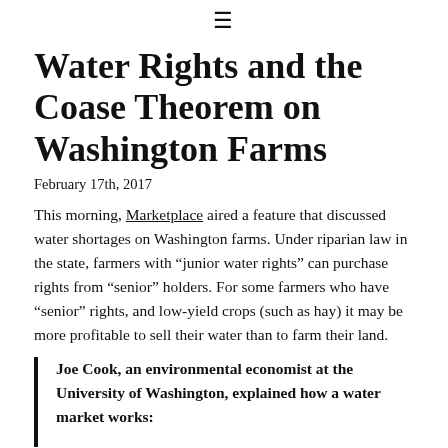≡
Water Rights and the Coase Theorem on Washington Farms
February 17th, 2017
This morning, Marketplace aired a feature that discussed water shortages on Washington farms. Under riparian law in the state, farmers with "junior water rights" can purchase rights from "senior" holders. For some farmers who have "senior" rights, and low-yield crops (such as hay) it may be more profitable to sell their water than to farm their land.
Joe Cook, an environmental economist at the University of Washington, explained how a water market works: